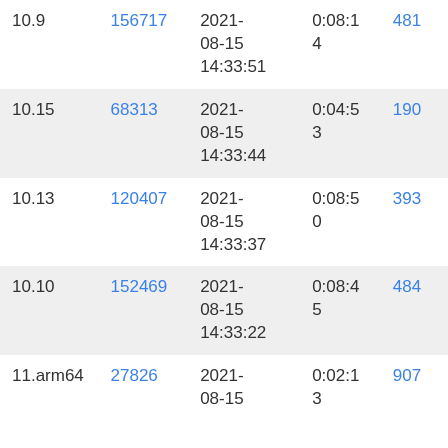| 10.9 | 156717 | 2021-08-15 14:33:51 | 0:08:14 | 481... |
| 10.15 | 68313 | 2021-08-15 14:33:44 | 0:04:53 | 190... |
| 10.13 | 120407 | 2021-08-15 14:33:37 | 0:08:50 | 393... |
| 10.10 | 152469 | 2021-08-15 14:33:22 | 0:08:45 | 484... |
| 11.arm64 | 27826 | 2021-08-15 ... | 0:02:13 | 907... |